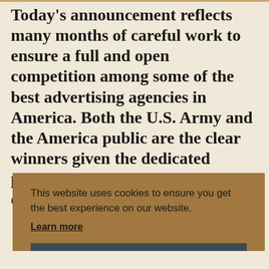Today's announcement reflects many months of careful work to ensure a full and open competition among some of the best advertising agencies in America. Both the U.S. Army and the America public are the clear winners given the dedicated professionals we've had working on the Army account in the past [king] [ut]
This website uses cookies to ensure you get the best experience on our website.
Learn more
Got it!